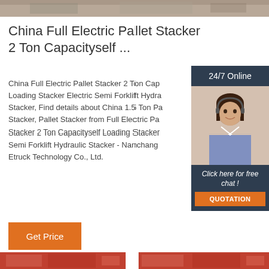[Figure (photo): Top image strip showing a warehouse or industrial scene]
China Full Electric Pallet Stacker 2 Ton Capacityself ...
China Full Electric Pallet Stacker 2 Ton Capacityself Loading Stacker Electric Semi Forklift Hydraulic Stacker, Find details about China 1.5 Ton Pallet Stacker, Pallet Stacker from Full Electric Pallet Stacker 2 Ton Capacityself Loading Stacker Electric Semi Forklift Hydraulic Stacker - Nanchang Etruck Technology Co., Ltd.
[Figure (photo): 24/7 Online chat widget with a customer service representative photo and QUOTATION button]
[Figure (photo): Bottom strip showing red industrial equipment images]